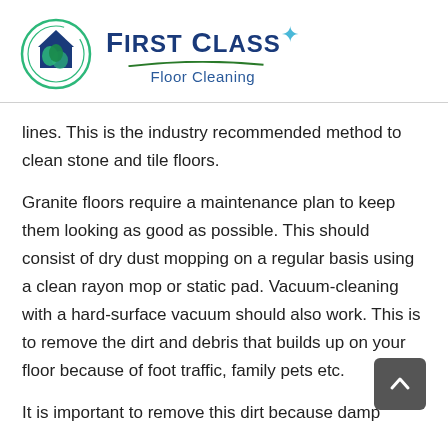[Figure (logo): First Class Floor Cleaning company logo with circular icon showing a house and cleaning elements, teal/green swoosh, and blue text.]
lines. This is the industry recommended method to clean stone and tile floors.
Granite floors require a maintenance plan to keep them looking as good as possible. This should consist of dry dust mopping on a regular basis using a clean rayon mop or static pad. Vacuum-cleaning with a hard-surface vacuum should also work. This is to remove the dirt and debris that builds up on your floor because of foot traffic, family pets etc.
It is important to remove this dirt because damp